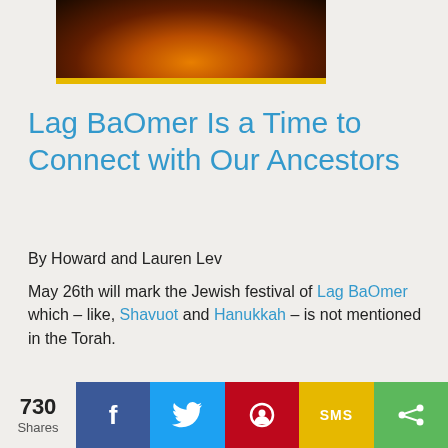[Figure (photo): Bonfire at night with flames and dark background]
Lag BaOmer Is a Time to Connect with Our Ancestors
By Howard and Lauren Lev
May 26th will mark the Jewish festival of Lag BaOmer which – like, Shavuot and Hanukkah – is not mentioned in the Torah.
The Music of N'ilah – Part One
By Cantor Barbara B. Finn, R.J.E.
730 Shares